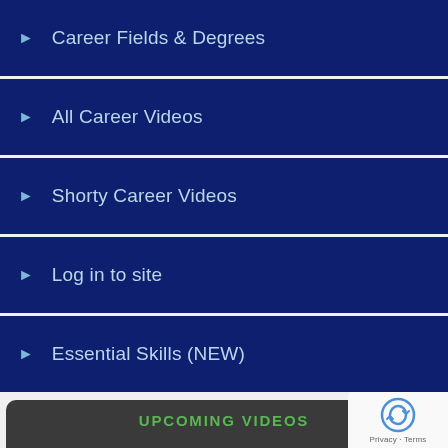► Career Fields & Degrees
► All Career Videos
► Shorty Career Videos
► Log in to site
► Essential Skills (NEW)
UPCOMING VIDEOS
1. CHEMICAL ENGINEER
2. CHEMICAL OPERATOR (MANUFACTURING)
3. COURT REPORTER
4. INSTRUMENTATION & ELECTRICAL TECHNICIAN